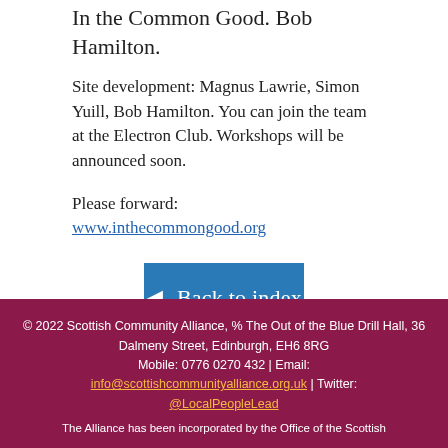In the Common Good. Bob Hamilton.
Site development: Magnus Lawrie, Simon Yuill, Bob Hamilton. You can join the team at the Electron Club. Workshops will be announced soon.
Please forward: www.inthecommongood.org
◄ Back to index
© 2022 Scottish Community Alliance, % The Out of the Blue Drill Hall, 36 Dalmeny Street, Edinburgh, EH6 8RG Mobile: 0776 0270 432 | Email: info@scottishcommunityalliance.org.uk | Twitter: @LocalPeopleLead The Alliance has been incorporated by the Office of the Scottish